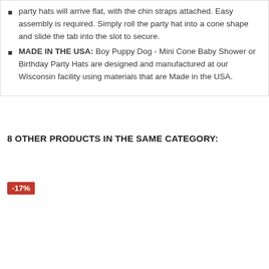party hats will arrive flat, with the chin straps attached. Easy assembly is required. Simply roll the party hat into a cone shape and slide the tab into the slot to secure.
MADE IN THE USA: Boy Puppy Dog - Mini Cone Baby Shower or Birthday Party Hats are designed and manufactured at our Wisconsin facility using materials that are Made in the USA.
8 OTHER PRODUCTS IN THE SAME CATEGORY:
-17%